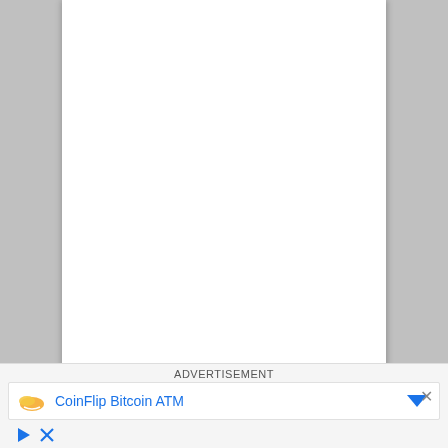ADVERTISEMENT
[Figure (other): CoinFlip Bitcoin ATM advertisement banner with logo icon and blue dropdown arrow]
[Figure (other): Ad control icons: play/triangle icon and close/X icon in blue]